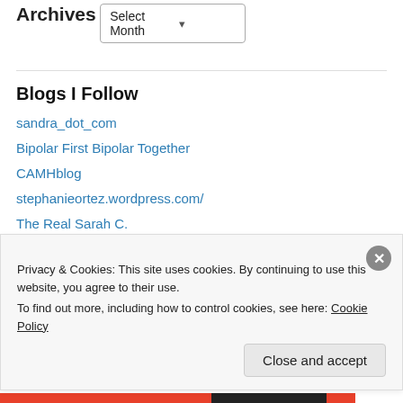Archives
Select Month
Blogs I Follow
sandra_dot_com
Bipolar First Bipolar Together
CAMHblog
stephanieortez.wordpress.com/
The Real Sarah C.
rebelthriver.wordpress.com/
Jacqueline Cioffa
offinefibro
Privacy & Cookies: This site uses cookies. By continuing to use this website, you agree to their use.
To find out more, including how to control cookies, see here: Cookie Policy
Close and accept